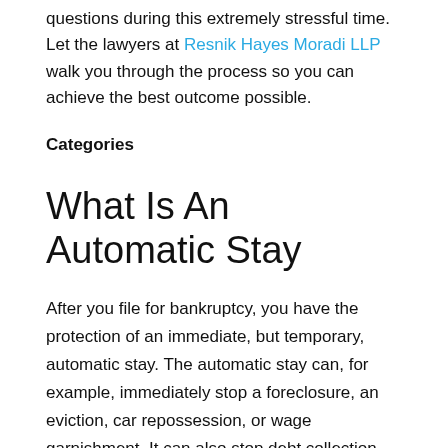questions during this extremely stressful time. Let the lawyers at Resnik Hayes Moradi LLP walk you through the process so you can achieve the best outcome possible.
Categories
What Is An Automatic Stay
After you file for bankruptcy, you have the protection of an immediate, but temporary, automatic stay. The automatic stay can, for example, immediately stop a foreclosure, an eviction, car repossession, or wage garnishment. It can also stop debt collection, harassment, and disconnection of utilities.
The automatic stay may provide a powerful reason for filing for bankruptcy. In most of the situations listed above, the